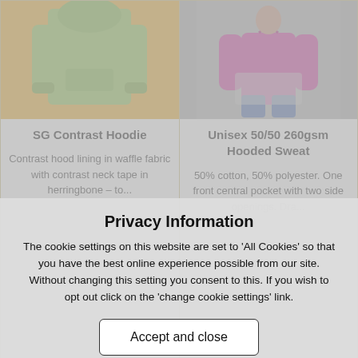[Figure (photo): Green SG Contrast Hoodie on orange background]
SG Contrast Hoodie
Contrast hood lining in waffle fabric with contrast neck tape in herringbone – to...
from £11.10
[Figure (photo): Person wearing Unisex 50/50 260gsm Hooded Sweat in magenta/pink]
Unisex 50/50 260gsm Hooded Sweat
50% cotton, 50% polyester. One front central pocket with two side openings. Dra...
from £11.35
Privacy Information
The cookie settings on this website are set to 'All Cookies' so that you have the best online experience possible from our site. Without changing this setting you consent to this. If you wish to opt out click on the 'change cookie settings' link.
Accept and close
Privacy Policy | Cookie Settings